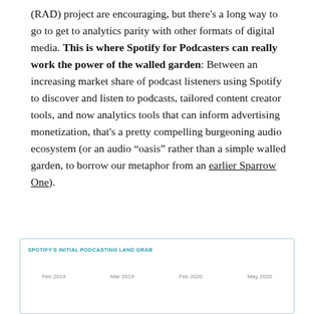(RAD) project are encouraging, but there's a long way to go to get to analytics parity with other formats of digital media. This is where Spotify for Podcasters can really work the power of the walled garden: Between an increasing market share of podcast listeners using Spotify to discover and listen to podcasts, tailored content creator tools, and now analytics tools that can inform advertising monetization, that's a pretty compelling burgeoning audio ecosystem (or an audio “oasis” rather than a simple walled garden, to borrow our metaphor from an earlier Sparrow One).
[Figure (infographic): Box with teal border titled 'SPOTIFY'S INITIAL PODCASTING LAND GRAB' with timeline dates: Feb 2019, Mar 2019, Feb 2020, May 2020]